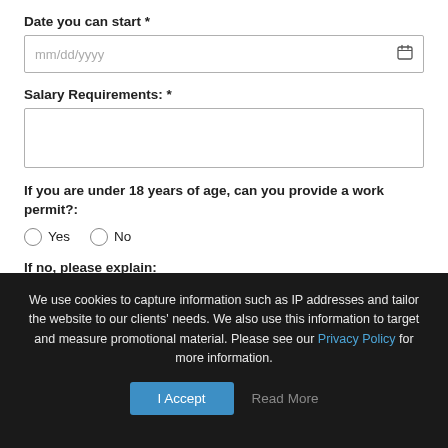Date you can start *
mm/dd/yyyy
Salary Requirements: *
If you are under 18 years of age, can you provide a work permit?:
Yes   No
If no, please explain:
We use cookies to capture information such as IP addresses and tailor the website to our clients' needs. We also use this information to target and measure promotional material. Please see our Privacy Policy for more information.
I Accept
Read More